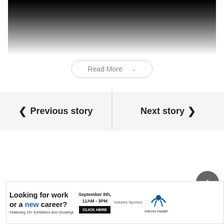[Figure (photo): Faded black-and-white image fading to white at bottom]
Read More ˅
❮ Previous story
Next story ❯
[Figure (illustration): Scroll-to-top button: dark grey circle with white upward chevron arrow]
[Figure (infographic): Advertisement banner: Looking for work or a new career? Featuring 15+ Exhibitors and Growing! September 8th, 11AM - 3PM CLICK HERE Industry Sponsor Interior Health]